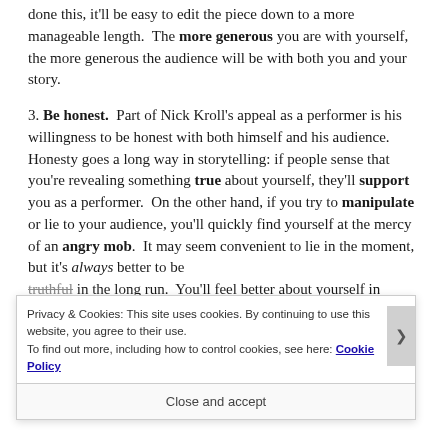done this, it'll be easy to edit the piece down to a more manageable length. The more generous you are with yourself, the more generous the audience will be with both you and your story.
3. Be honest. Part of Nick Kroll's appeal as a performer is his willingness to be honest with both himself and his audience. Honesty goes a long way in storytelling: if people sense that you're revealing something true about yourself, they'll support you as a performer. On the other hand, if you try to manipulate or lie to your audience, you'll quickly find yourself at the mercy of an angry mob. It may seem convenient to lie in the moment, but it's always better to be truthful in the long run. You'll feel better about yourself in
Privacy & Cookies: This site uses cookies. By continuing to use this website, you agree to their use. To find out more, including how to control cookies, see here: Cookie Policy
Close and accept